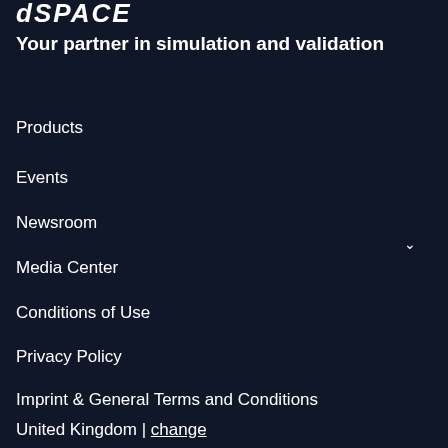dSPACE
Your partner in simulation and validation
Products
Events
Newsroom
Media Center
Conditions of Use
Privacy Policy
Imprint & General Terms and Conditions
United Kingdom | change